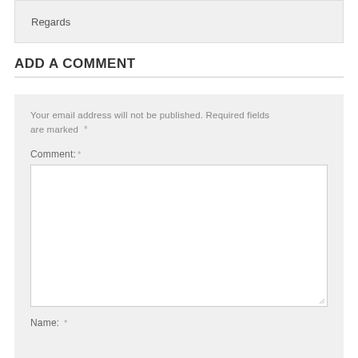Regards
ADD A COMMENT
Your email address will not be published. Required fields are marked *
Comment: *
Name: *